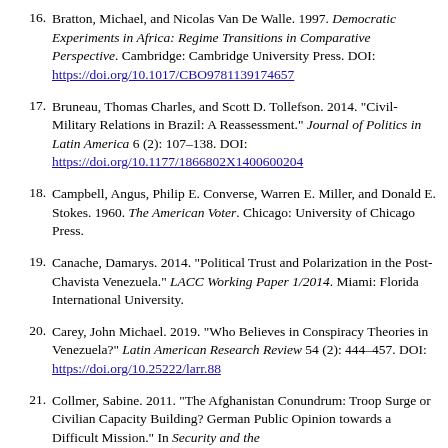Bratton, Michael, and Nicolas Van De Walle. 1997. Democratic Experiments in Africa: Regime Transitions in Comparative Perspective. Cambridge: Cambridge University Press. DOI: https://doi.org/10.1017/CBO9781139174657
Bruneau, Thomas Charles, and Scott D. Tollefson. 2014. "Civil-Military Relations in Brazil: A Reassessment." Journal of Politics in Latin America 6 (2): 107–138. DOI: https://doi.org/10.1177/1866802X1400600204
Campbell, Angus, Philip E. Converse, Warren E. Miller, and Donald E. Stokes. 1960. The American Voter. Chicago: University of Chicago Press.
Canache, Damarys. 2014. "Political Trust and Polarization in the Post-Chavista Venezuela." LACC Working Paper 1/2014. Miami: Florida International University.
Carey, John Michael. 2019. "Who Believes in Conspiracy Theories in Venezuela?" Latin American Research Review 54 (2): 444–457. DOI: https://doi.org/10.25222/larr.88
Collmer, Sabine. 2011. "The Afghanistan Conundrum: Troop Surge or Civilian Capacity Building? German Public Opinion towards a Difficult Mission." In Security and the...